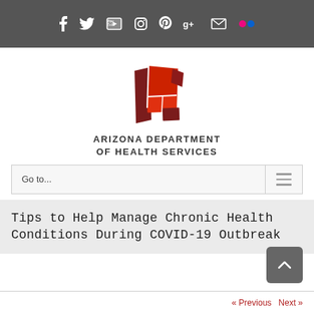Social media icons: Facebook, Twitter, YouTube, Instagram, Pinterest, Google+, Email, Flickr
[Figure (logo): Arizona Department of Health Services logo — geometric red shapes forming stylized letters]
ARIZONA DEPARTMENT OF HEALTH SERVICES
Go to...
Tips to Help Manage Chronic Health Conditions During COVID-19 Outbreak
« Previous   Next »